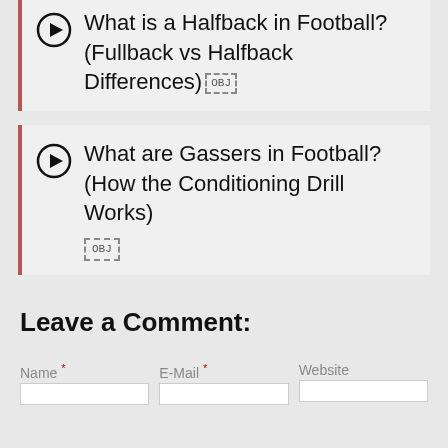What is a Halfback in Football? (Fullback vs Halfback Differences) [OBJ]
What are Gassers in Football? (How the Conditioning Drill Works) [OBJ]
Leave a Comment:
Name * | E-Mail * | Website